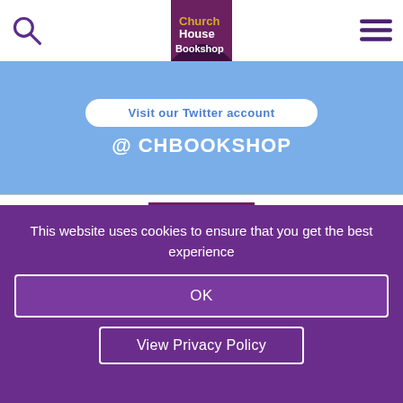[Figure (logo): Church House Bookshop logo in header]
Visit our Twitter account
@ CHBOOKSHOP
[Figure (logo): Church House Bookshop logo in footer area]
This website uses cookies to ensure that you get the best experience
OK
View Privacy Policy